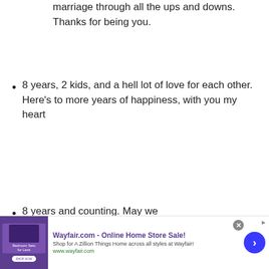marriage through all the ups and downs. Thanks for being you.
8 years, 2 kids, and a hell lot of love for each other. Here’s to more years of happiness, with you my heart
8 years and counting. May we
[Figure (screenshot): Advertisement banner for Wayfair.com - Online Home Store Sale! with purple bedroom furniture image, description 'Shop for A Zillion Things Home across all styles at Wayfair!' and URL www.wayfair.com, with close button and arrow button.]